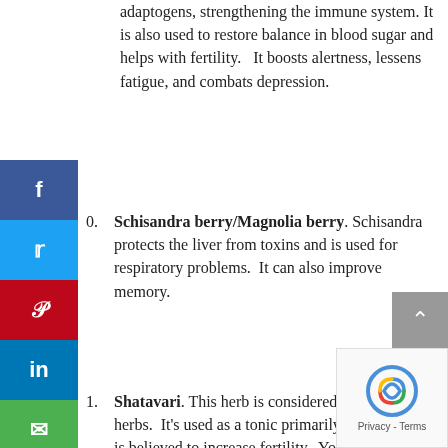adaptogens, strengthening the immune system. It is also used to restore balance in blood sugar and helps with fertility.   It boosts alertness, lessens fatigue, and combats depression.
Schisandra berry/Magnolia berry. Schisandra protects the liver from toxins and is used for respiratory problems.  It can also improve memory.
Shatavari. This herb is considered the queen of herbs.  It's used as a tonic primarily by women.  It is believed to increase fertility.  You can read more about the symptoms it is used to treat here.
22. Suma. Suma can be purchased in a capsu... form or as a dried herb powder.  People o... refer to suma as Brazilian ginseng.  It is